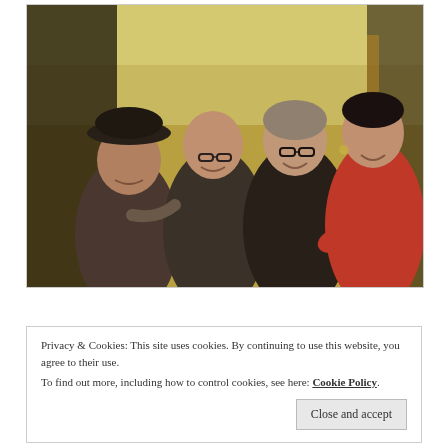[Figure (photo): Four women posing together indoors, smiling. The leftmost woman wears a dark hat. The room has bookshelves visible on the left. A warm yellowish lighting fills the background.]
Privacy & Cookies: This site uses cookies. By continuing to use this website, you agree to their use.
To find out more, including how to control cookies, see here: Cookie Policy
Close and accept